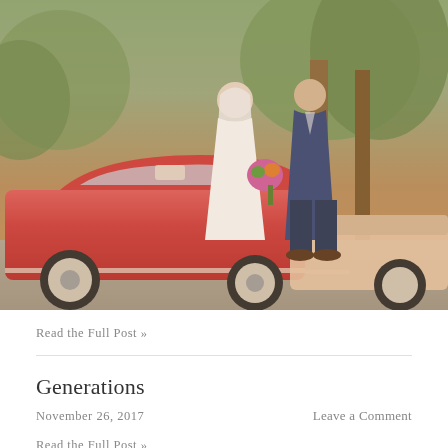[Figure (photo): Wedding couple kissing in front of a vintage red classic car (1964 Chevrolet Impala), with trees in background. Bride in white dress with veil holding colorful bouquet, groom in navy blue suit.]
Read the Full Post »
Generations
November 26, 2017
Leave a Comment
Read the Full Post »
Subscribe